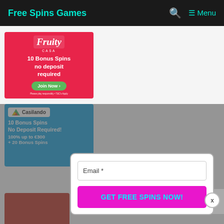Free Spins Games  Menu
[Figure (illustration): Fruity Casa casino ad banner: pink/red background, Fruity Casa logo, '10 Bonus Spins no deposit required', green Join Now button, fine print]
[Figure (illustration): Casilando casino ad banner: blue background, Casilando logo, '10 Bonus Spins No Deposit Required! 100% up to €300 + 20 Bonus Spins']
Email *
GET FREE SPINS NOW!